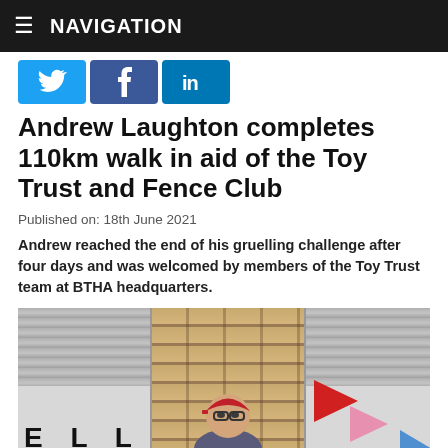≡ NAVIGATION
[Figure (infographic): Social media share buttons: Twitter (bird icon), Facebook (f icon), LinkedIn (in icon)]
Andrew Laughton completes 110km walk in aid of the Toy Trust and Fence Club
Published on: 18th June 2021
Andrew reached the end of his gruelling challenge after four days and was welcomed by members of the Toy Trust team at BTHA headquarters.
[Figure (photo): Photo strip showing three panels: left panel with a roller shutter and partial banner text 'E L L', center panel with brick wall background and a person wearing a red cap and glasses, right panel with roller shutter and colorful arrow decorations]